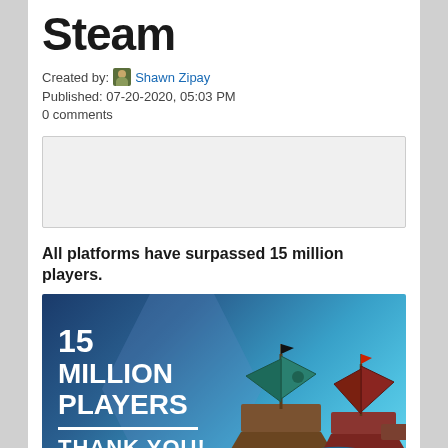Steam
Created by: Shawn Zipay
Published: 07-20-2020, 05:03 PM
0 comments
[Figure (other): Gray advertisement placeholder box]
All platforms have surpassed 15 million players.
[Figure (illustration): Sea of Thieves promotional image showing pirate ships on the ocean with text '15 MILLION PLAYERS - THANK YOU!' and the Sea of Thieves logo in the bottom right corner.]